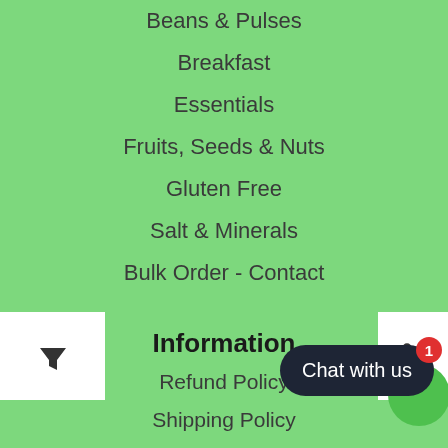Beans & Pulses
Breakfast
Essentials
Fruits, Seeds & Nuts
Gluten Free
Salt & Minerals
Bulk Order - Contact
Information
Refund Policy
Shipping Policy
Cookies & Privacy Policy
Terms of Services